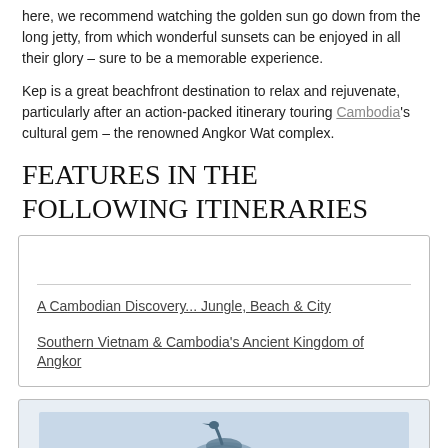here, we recommend watching the golden sun go down from the long jetty, from which wonderful sunsets can be enjoyed in all their glory – sure to be a memorable experience.
Kep is a great beachfront destination to relax and rejuvenate, particularly after an action-packed itinerary touring Cambodia's cultural gem – the renowned Angkor Wat complex.
FEATURES IN THE FOLLOWING ITINERARIES
A Cambodian Discovery... Jungle, Beach & City
Southern Vietnam & Cambodia's Ancient Kingdom of Angkor
[Figure (photo): Partial view of a photo at the bottom of the page showing what appears to be a bird or animal silhouette against a light background]